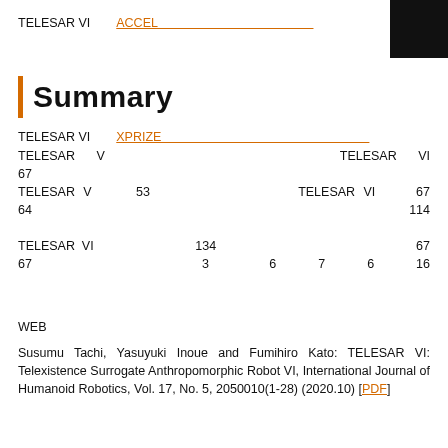TELESAR VI　　ACCEL
Summary
TELESAR VI　　XPRIZE　　　　　　　　　　　　　　　　　　　　　　　　　TELESAR V　　　　　　　TELESAR VI　　　　　　　　　　　　　　　　　　　　　　　　　　　67　　　　　　　　　　　　　　　　　　　　　　　　　　　　　　　　　　　　　　　　TELESAR V　　53　　　　　　　　TELESAR VI　　67　　　　　　　　　　　　　　　　　64　　　114　　　　　　　　　　　　　　　　　　　　　　　　　　　　　　　　　　　　　　　　　　　TELESAR VI　　　　　　134　　　　　　　　　　　　67　　　　　　　　　　　　　　　　　　　　　　　　　　　　　　　　　　　　　　67　　　　　　　　　3　　　6　　7　　6　　16
WEB
Susumu Tachi, Yasuyuki Inoue and Fumihiro Kato: TELESAR VI: Telexistence Surrogate Anthropomorphic Robot VI, International Journal of Humanoid Robotics, Vol. 17, No. 5, 2050010(1-28) (2020.10) [PDF]